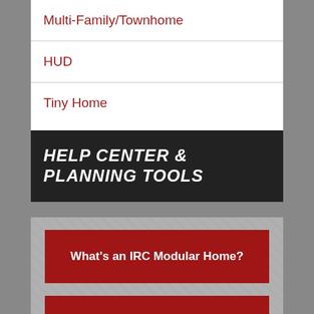Multi-Family/Townhome
HUD
Tiny Home
HELP CENTER & PLANNING TOOLS
What's an IRC Modular Home?
Budget Calculator